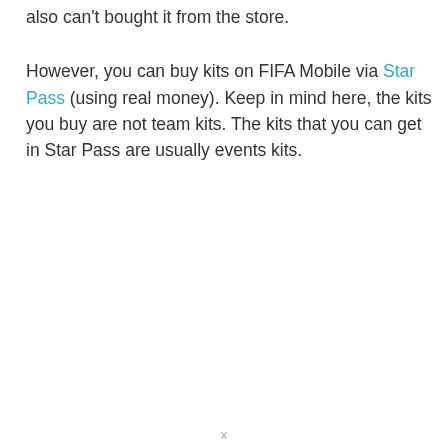also can't bought it from the store.
However, you can buy kits on FIFA Mobile via Star Pass (using real money). Keep in mind here, the kits you buy are not team kits. The kits that you can get in Star Pass are usually events kits.
x